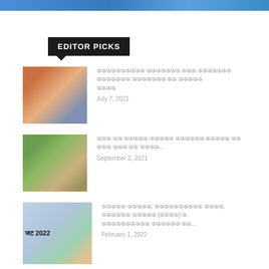[Figure (photo): Blue banner image at top]
EDITOR PICKS
[Figure (photo): People photo thumbnail for first article]
ऊऊऊऊऊऊऊऊऊऊ ऊऊऊऊऊऊऊ ऊऊऊ ऊऊऊऊऊऊऊ ऊऊऊऊऊऊऊ ऊऊऊऊऊऊऊ ऊऊ ऊऊऊऊऊ ऊऊऊऊ
July 7, 2021
[Figure (photo): Animal/nature photo thumbnail for second article]
ऊऊऊ ऊऊ ऊऊऊऊऊ ऊऊऊऊऊ ऊऊऊऊऊऊ ऊऊऊऊऊ ऊऊ ऊऊऊ ऊऊऊ ऊऊ ऊऊऊऊ...
September 2, 2021
[Figure (photo): Budget 2022 graphic thumbnail]
ऊऊऊऊऊ ऊऊऊऊऊ, ऊऊऊऊऊऊऊऊऊऊ ऊऊऊऊ, ऊऊऊऊऊऊ ऊऊऊऊऊ (ऊऊऊऊ) ऊ ऊऊऊऊऊऊऊऊऊऊ ऊऊऊऊऊऊ ऊऊ...
February 1, 2022
[Figure (photo): Blank/placeholder thumbnail for fourth article]
ऊऊऊऊऊऊऊऊऊ ऊऊ ऊऊ ऊऊऊऊऊ ऊऊऊ ऊऊऊऊ ऊऊऊ ऊऊऊऊऊ, ऊऊऊऊ ऊऊऊऊऊऊऊऊऊऊ ऊऊ...
July 30, 2021